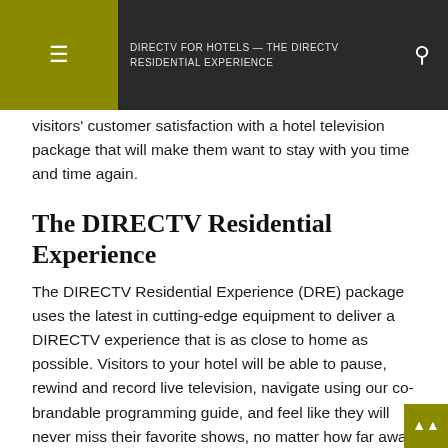DIRECTV FOR HOTELS — THE DIRECTV RESIDENTIAL EXPERIENCE
visitors' customer satisfaction with a hotel television package that will make them want to stay with you time and time again.
The DIRECTV Residential Experience
The DIRECTV Residential Experience (DRE) package uses the latest in cutting-edge equipment to deliver a DIRECTV experience that is as close to home as possible. Visitors to your hotel will be able to pause, rewind and record live television, navigate using our co-brandable programming guide, and feel like they will never miss their favorite shows, no matter how far away from home they might be.
For hoteliers, the DRE package allows flexibility with the ability to insert up to 50 channels of hotel content seamlessly into the programming guide. You can brand the